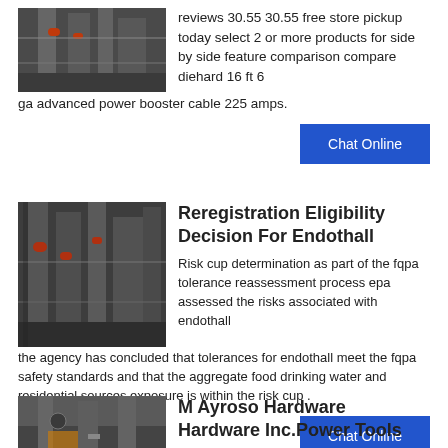[Figure (photo): Industrial machinery/equipment photo showing cylindrical structures and pipes]
reviews 30.55 30.55 free store pickup today select 2 or more products for side by side feature comparison compare diehard 16 ft 6 ga advanced power booster cable 225 amps.
Chat Online
[Figure (photo): Industrial facility interior with large cylindrical columns and equipment]
Reregistration Eligibility Decision For Endothall
Risk cup determination as part of the fqpa tolerance reassessment process epa assessed the risks associated with endothall the agency has concluded that tolerances for endothall meet the fqpa safety standards and that the aggregate food drinking water and residential sources exposure is within the risk cup .
Chat Online
[Figure (photo): Industrial site photo showing equipment and worker]
M Ayroso Hardware Hardware Inc.Power Tools
Cutt off wheel/grinding stone taper file test new package php 5000 0 add to quote kyk